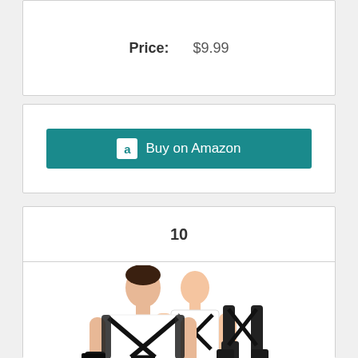Price: $9.99
[Figure (other): Buy on Amazon button with Amazon logo]
10
[Figure (photo): Man wearing a black shoulder holster rig over a white t-shirt, with two additional holster rigs shown beside him]
Gun Holster-Fits Compact to Large Handguns Concealed Carry Shoulder Holster with Magazine